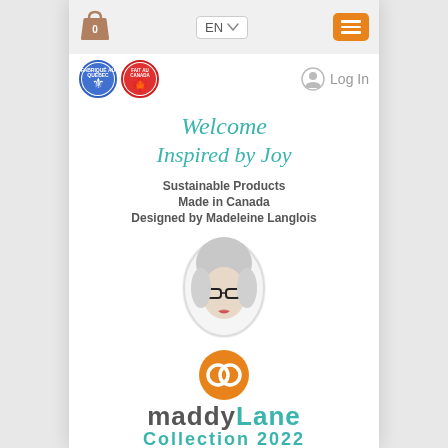[Figure (screenshot): Mobile website screenshot of Maddy Lane Collection 2022 homepage showing navigation bar with bag icon, language selector (EN), hamburger menu button, Quebec and Canada badges, Log In link, welcome text in teal cursive, tagline text, designer portrait photo in oval frame, orange infinity-style logo, and brand name 'maddyLane Collection 2022']